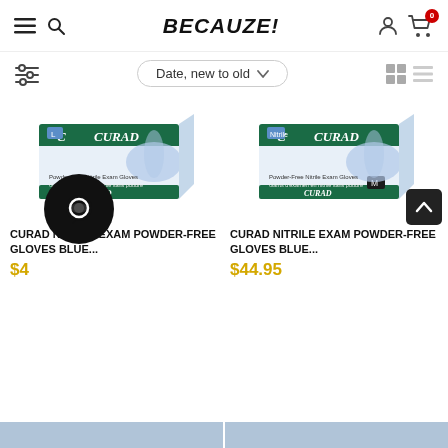BECAUZE! — navigation header with hamburger menu, search, user icon, cart (0)
Date, new to old (sort dropdown)
[Figure (photo): Box of CURAD Nitrile Exam Powder-Free Gloves Blue, size L]
CURAD NITRILE EXAM POWDER-FREE GLOVES BLUE...
$44.95
[Figure (photo): Box of CURAD Nitrile Exam Powder-Free Gloves Blue, size M]
CURAD NITRILE EXAM POWDER-FREE GLOVES BLUE...
$44.95